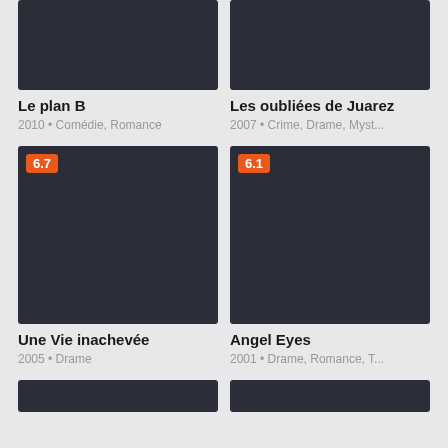[Figure (screenshot): Movie poster thumbnail for Le plan B (dark background, cropped top)]
Le plan B
2010 • Comédie, Romance
[Figure (screenshot): Movie poster thumbnail for Les oubliées de Juarez (dark background, cropped top)]
Les oubliées de Juarez
2007 • Crime, Drame, Myst...
[Figure (screenshot): Movie poster thumbnail for Une Vie inachevée with rating badge 6.7]
Une Vie inachevée
2005 • Drame
[Figure (screenshot): Movie poster thumbnail for Angel Eyes with rating badge 6.1]
Angel Eyes
2001 • Drame, Romance, T...